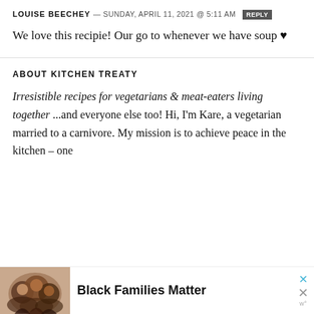LOUISE BEECHEY — SUNDAY, APRIL 11, 2021 @ 5:11 AM  REPLY
We love this recipie! Our go to whenever we have soup ♥
ABOUT KITCHEN TREATY
Irresistible recipes for vegetarians & meat-eaters living together ...and everyone else too! Hi, I'm Kare, a vegetarian married to a carnivore. My mission is to achieve peace in the kitchen – one
[Figure (photo): Photo of smiling people used in advertisement]
Black Families Matter